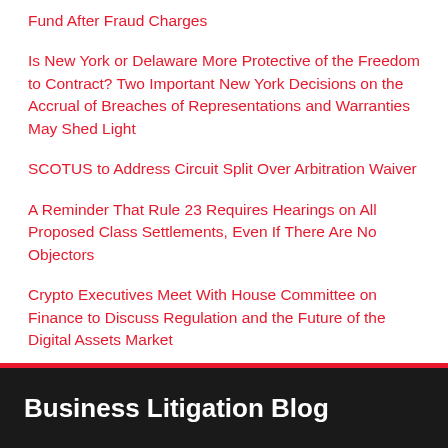Fund After Fraud Charges
Is New York or Delaware More Protective of the Freedom to Contract? Two Important New York Decisions on the Accrual of Breaches of Representations and Warranties May Shed Light
SCOTUS to Address Circuit Split Over Arbitration Waiver
A Reminder That Rule 23 Requires Hearings on All Proposed Class Settlements, Even If There Are No Objectors
Crypto Executives Meet With House Committee on Finance to Discuss Regulation and the Future of the Digital Assets Market
Business Litigation Blog